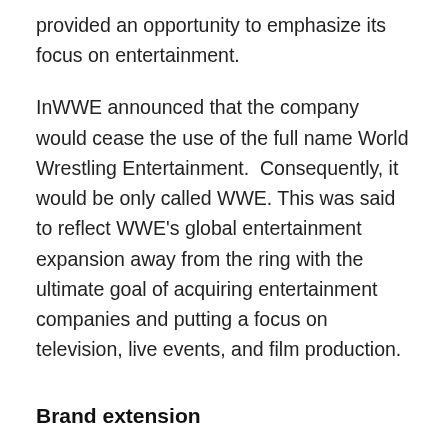provided an opportunity to emphasize its focus on entertainment.
InWWE announced that the company would cease the use of the full name World Wrestling Entertainment.  Consequently, it would be only called WWE. This was said to reflect WWE's global entertainment expansion away from the ring with the ultimate goal of acquiring entertainment companies and putting a focus on television, live events, and film production.
Brand extension